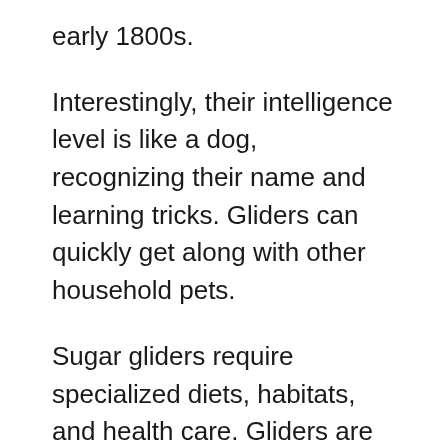early 1800s.
Interestingly, their intelligence level is like a dog, recognizing their name and learning tricks. Gliders can quickly get along with other household pets.
Sugar gliders require specialized diets, habitats, and health care. Gliders are messy, and most don’t succeed well with litter box training, and they also get a lot of pleasure from throwing their food.
Since gliders are not rodents, they rarely